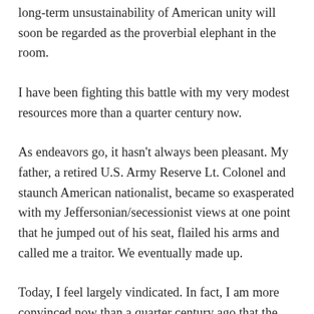long-term unsustainability of American unity will soon be regarded as the proverbial elephant in the room.
I have been fighting this battle with my very modest resources more than a quarter century now.
As endeavors go, it hasn't always been pleasant. My father, a retired U.S. Army Reserve Lt. Colonel and staunch American nationalist, became so exasperated with my Jeffersonian/secessionist views at one point that he jumped out of his seat, flailed his arms and called me a traitor. We eventually made up.
Today, I feel largely vindicated. In fact, I am more convinced now than a quarter century ago that the moral and intellectual underpinnings that have sustained American unity, however tenuously, for the last almost quarter millennium are fraying rapidly. As this author, who writes from an unmistakably center-left, blue-coastal perspective, readily perceives, many